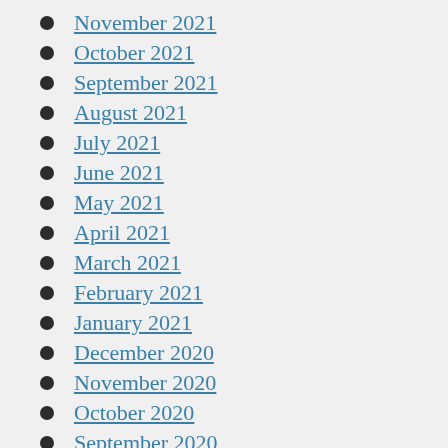November 2021
October 2021
September 2021
August 2021
July 2021
June 2021
May 2021
April 2021
March 2021
February 2021
January 2021
December 2020
November 2020
October 2020
September 2020
August 2020
July 2020